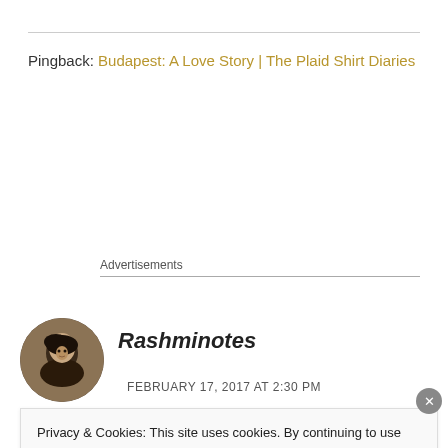Pingback: Budapest: A Love Story | The Plaid Shirt Diaries
Advertisements
[Figure (photo): Circular avatar photo of Rashminotes author]
Rashminotes
FEBRUARY 17, 2017 AT 2:30 PM
Privacy & Cookies: This site uses cookies. By continuing to use this website, you agree to their use. To find out more, including how to control cookies, see here: Cookie Policy
Close and accept